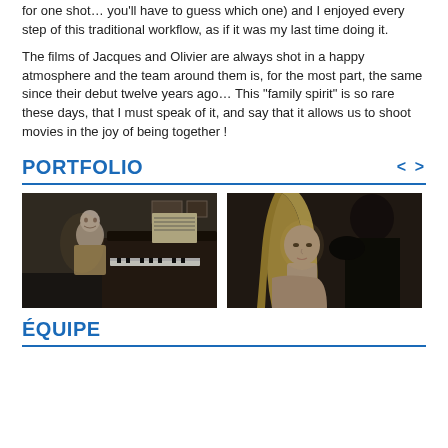for one shot… you'll have to guess which one) and I enjoyed every step of this traditional workflow, as if it was my last time doing it.
The films of Jacques and Olivier are always shot in a happy atmosphere and the team around them is, for the most part, the same since their debut twelve years ago… This "family spirit" is so rare these days, that I must speak of it, and say that it allows us to shoot movies in the joy of being together !
PORTFOLIO
[Figure (photo): Elderly man in tan jacket seated at a grand piano with sheet music, dark room background]
[Figure (photo): Young blonde woman looking downward, another person behind her in dark clothing, moody lighting]
ÉQUIPE